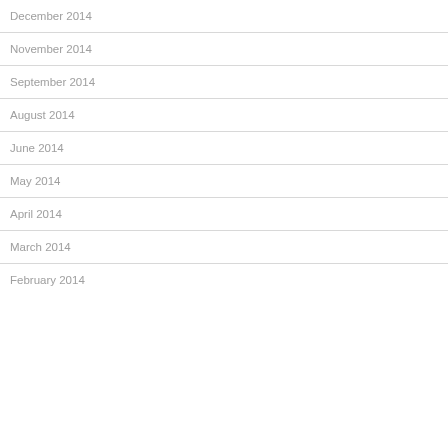December 2014
November 2014
September 2014
August 2014
June 2014
May 2014
April 2014
March 2014
February 2014